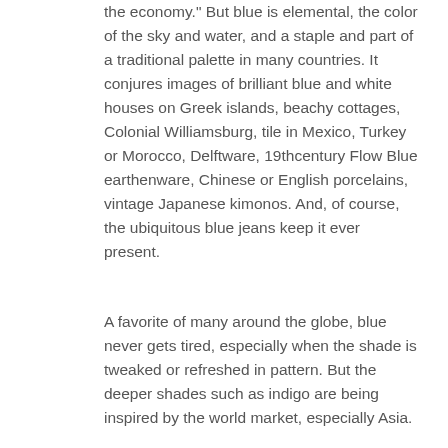the economy." But blue is elemental, the color of the sky and water, and a staple and part of a traditional palette in many countries. It conjures images of brilliant blue and white houses on Greek islands, beachy cottages, Colonial Williamsburg, tile in Mexico, Turkey or Morocco, Delftware, 19thcentury Flow Blue earthenware, Chinese or English porcelains, vintage Japanese kimonos. And, of course, the ubiquitous blue jeans keep it ever present.
A favorite of many around the globe, blue never gets tired, especially when the shade is tweaked or refreshed in pattern. But the deeper shades such as indigo are being inspired by the world market, especially Asia.